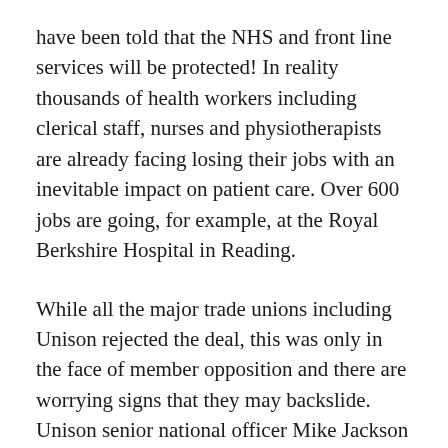have been told that the NHS and front line services will be protected! In reality thousands of health workers including clerical staff, nurses and physiotherapists are already facing losing their jobs with an inevitable impact on patient care. Over 600 jobs are going, for example, at the Royal Berkshire Hospital in Reading.
While all the major trade unions including Unison rejected the deal, this was only in the face of member opposition and there are worrying signs that they may backslide. Unison senior national officer Mike Jackson said: “Members don’t wish to give up pay progression particularly when what’s on the table wouldn’t guarantee [there would be] no compulsory redundancies and doesn’t include all staff.” However he added: “If there are any other proposals that might achieve a situation where they were able to provide